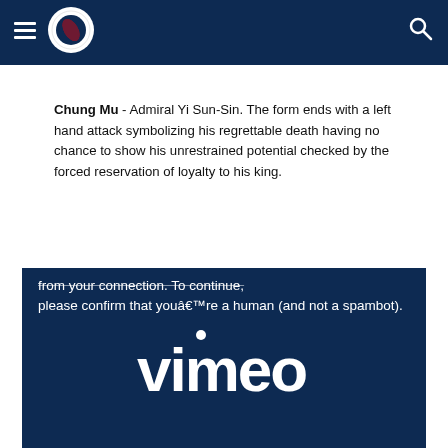Navigation header with menu icon, taekwondo logo, and search icon on dark blue background
Chung Mu - Admiral Yi Sun-Sin. The form ends with a left hand attack symbolizing his regrettable death having no chance to show his unrestrained potential checked by the forced reservation of loyalty to his king.
[Figure (screenshot): Vimeo embed panel on dark blue background showing text: 'from your connection. To continue, please confirm that youâ€™re a human (and not a spambot).' with Vimeo logo below]